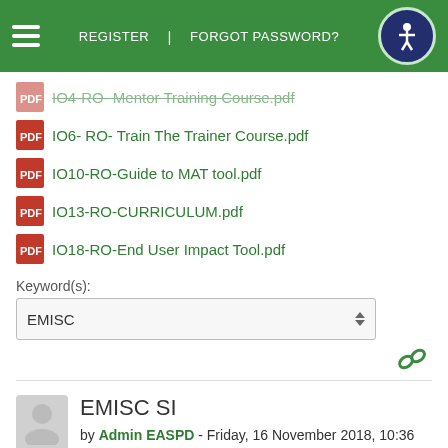REGISTER | FORGOT PASSWORD?
IO4-RO- Mentor Training Course.pdf
IO6- RO- Train The Trainer Course.pdf
IO10-RO-Guide to MAT tool.pdf
IO13-RO-CURRICULUM.pdf
IO18-RO-End User Impact Tool.pdf
Keyword(s):
EMISC
EMISC SI
by Admin EASPD - Friday, 16 November 2018, 10:36 AM
The objective of the European Mentoring in Social Care (EMiSC) training material is to create a 'common foundation' in social care training across